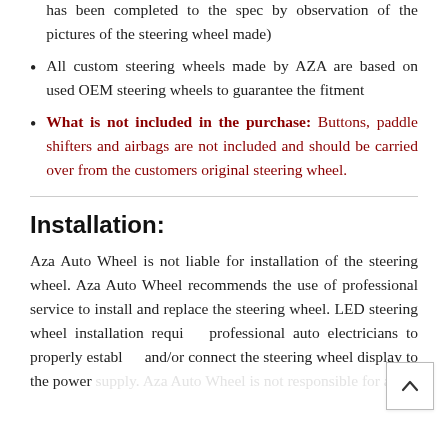has been completed to the spec by observation of the pictures of the steering wheel made)
All custom steering wheels made by AZA are based on used OEM steering wheels to guarantee the fitment
What is not included in the purchase: Buttons, paddle shifters and airbags are not included and should be carried over from the customers original steering wheel.
Installation:
Aza Auto Wheel is not liable for installation of the steering wheel. Aza Auto Wheel recommends the use of professional service to install and replace the steering wheel. LED steering wheel installation requires professional auto electricians to properly establish and/or connect the steering wheel display to the power supply. Aza Auto Wheel is not responsible for any...